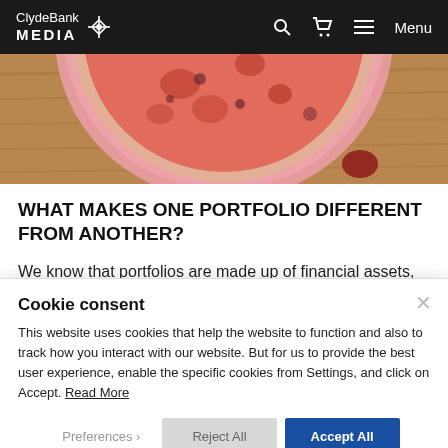ClydeBank MEDIA | Search | Cart | Menu
[Figure (photo): Close-up photo of a pizza or round food item on a wooden surface, viewed from above, showing red/pink tones with pink rim]
WHAT MAKES ONE PORTFOLIO DIFFERENT FROM ANOTHER?
We know that portfolios are made up of financial assets, mainly stocks, bonds, and cash. We also
Cookie consent
This website uses cookies that help the website to function and also to track how you interact with our website. But for us to provide the best user experience, enable the specific cookies from Settings, and click on Accept. Read More